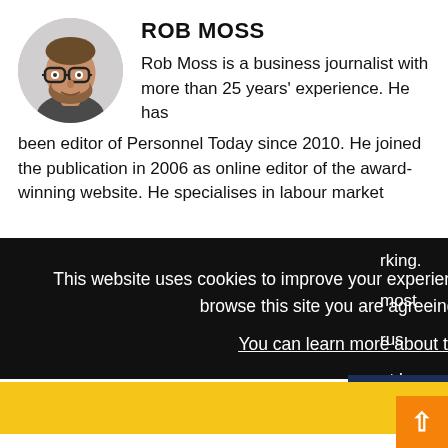[Figure (photo): Circular headshot photo of Rob Moss, a bearded man wearing glasses]
ROB MOSS
Rob Moss is a business journalist with more than 25 years' experience. He has been editor of Personnel Today since 2010. He joined the publication in 2006 as online editor of the award-winning website. He specialises in labour market
This website uses cookies to improve your experience and for ads personalisation. By continuing to browse this site you are agreeing to our use of these cookies.
You can learn more about the cookies we use here.
OK